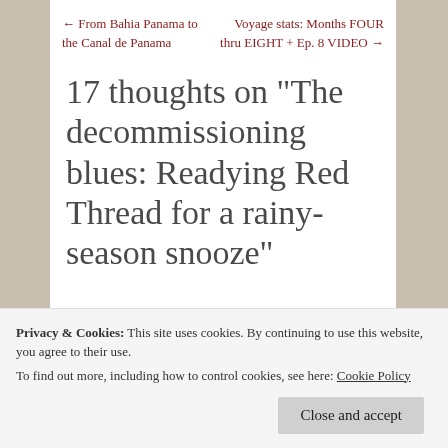← From Bahia Panama to the Canal de Panama
Voyage stats: Months FOUR thru EIGHT + Ep. 8 VIDEO →
17 thoughts on “The decommissioning blues: Readying Red Thread for a rainy-season snooze”
Privacy & Cookies: This site uses cookies. By continuing to use this website, you agree to their use.
To find out more, including how to control cookies, see here: Cookie Policy